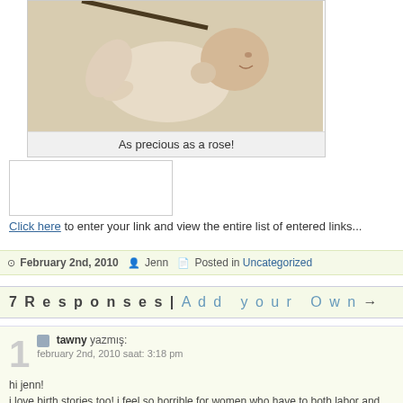[Figure (photo): A newborn baby lying on a light-colored surface, wearing a white outfit, photographed from above.]
As precious as a rose!
[Figure (other): Empty white link entry box with border]
Click here to enter your link and view the entire list of entered links...
February 2nd, 2010  Jenn  Posted in Uncategorized
7 Responses | Add your Own →
tawny yazmış:
february 2nd, 2010 saat: 3:18 pm

hi jenn!
i love birth stories too! i feel so horrible for women who have to both labor and have a c-section  i only have a c-section since my daughter was breech!